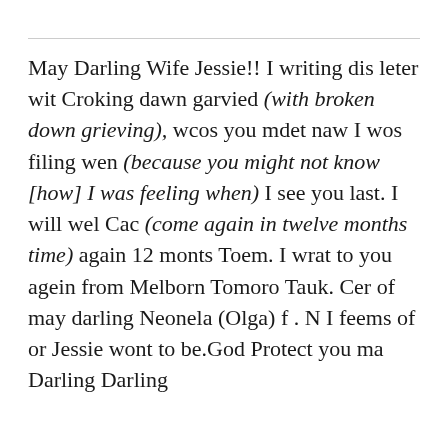May Darling Wife Jessie!! I writing dis leter wit Croking dawn garvied (with broken down grieving), wcos you mdet naw I wos filing wen (because you might not know [how] I was feeling when) I see you last. I will wel Cac (come again in twelve months time) again 12 monts Toem. I wrat to you agein from Melborn Tomoro Tauk. Cer of may darling Neonela (Olga) f . N I feems of or Jessie wont to be.God Protect you ma Darling Darling